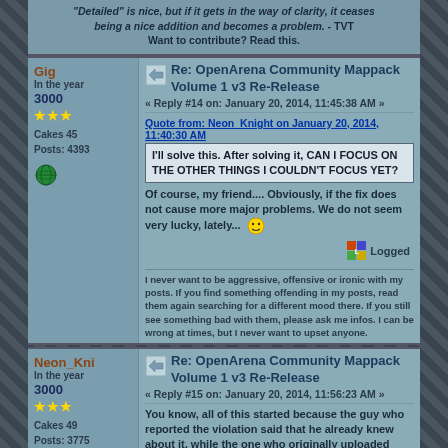"Detailed" is nice, but if it gets in the way of clarity, it ceases being a nice addition and becomes a problem. - TVT Want to contribute? Read this.
Re: OpenArena Community Mappack Volume 1 v3 Re-Release
« Reply #14 on: January 20, 2014, 11:45:38 AM »
Gig
In the year 3000
Cakes 45
Posts: 4393
Quote from: Neon_Knight on January 20, 2014, 11:40:30 AM
I'll solve this. After solving it, CAN I FOCUS ON THE OTHER THINGS I COULDN'T FOCUS YET?
Of course, my friend.... Obviously, if the fix does not cause more major problems. We do not seem very lucky, lately...
Logged
I never want to be aggressive, offensive or ironic with my posts. If you find something offending in my posts, read them again searching for a different mood there. If you still see something bad with them, please ask me infos. I can be wrong at times, but I never want to upset anyone.
Re: OpenArena Community Mappack Volume 1 v3 Re-Release
« Reply #15 on: January 20, 2014, 11:56:23 AM »
Neon_Kni
In the year 3000
Cakes 49
Posts: 3775
You know, all of this started because the guy who reported the violation said that he already knew about it, while the one who originally uploaded stated